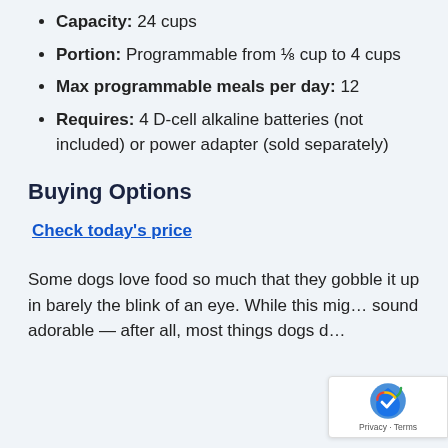Capacity: 24 cups
Portion: Programmable from ⅛ cup to 4 cups
Max programmable meals per day: 12
Requires: 4 D-cell alkaline batteries (not included) or power adapter (sold separately)
Buying Options
Check today's price
Some dogs love food so much that they gobble it up in barely the blink of an eye. While this might sound adorable — after all, most things dogs d…